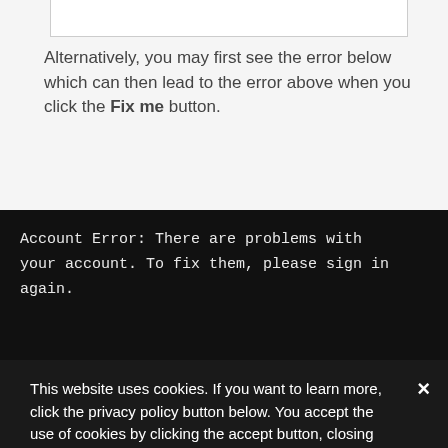[Figure (screenshot): Partial screenshot showing bottom border of a UI box]
Alternatively, you may first see the error below which can then lead to the error above when you click the Fix me button.
[Figure (screenshot): Dark terminal/code block showing error message: Account Error: There are problems with your account. To fix them, please sign in again.]
This website uses cookies. If you want to learn more, click the privacy policy button below. You accept the use of cookies by clicking the accept button, closing or dismissing this banner, or, by continuing to browse this website.
Accept
Privacy Policy